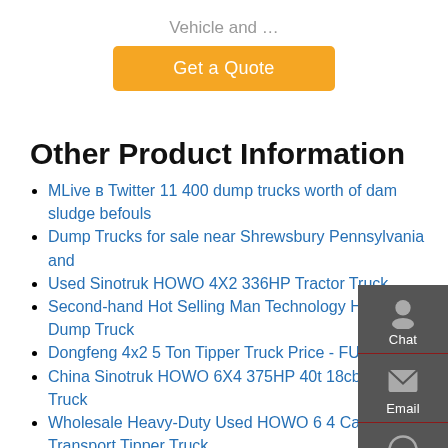Vehicle and …
Get a Quote
Other Product Information
MLive в Twitter 11 400 dump trucks worth of dam sludge befouls
Dump Trucks for sale near Shrewsbury Pennsylvania and
Used Sinotruk HOWO 4X2 336HP Tractor Truck
Second-hand Hot Selling Man Technology HOWO T7H Dump Truck
Dongfeng 4x2 5 Ton Tipper Truck Price - FUDA
China Sinotruk HOWO 6X4 375HP 40t 18cbm Dump Truck
Wholesale Heavy-Duty Used HOWO 6 4 Cargo Transport Tipper Truck
Cold Start 1975 Chevy C30 Dump Truck
Climate activists take aim at Lloyds with a tipper truck
China Shacman F3000 6 4 380HP Heavy Dump Truck